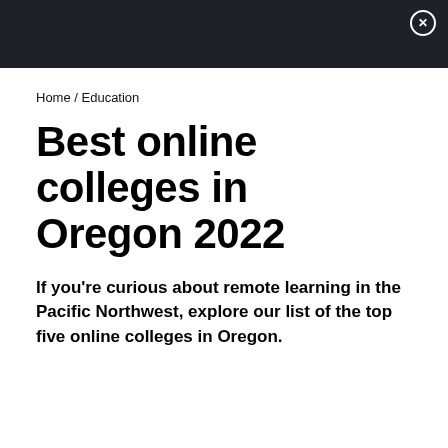X
Home / Education
Best online colleges in Oregon 2022
If you're curious about remote learning in the Pacific Northwest, explore our list of the top five online colleges in Oregon.